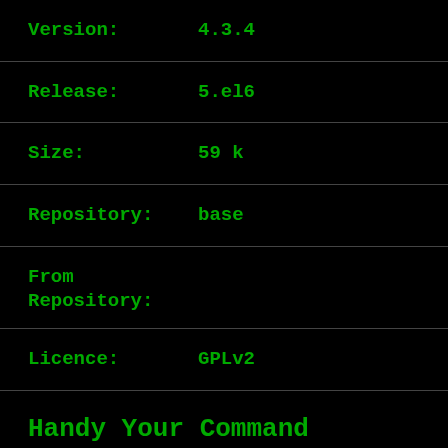Version:    4.3.4
Release:    5.el6
Size:    59 k
Repository:    base
From Repository:
Licence:    GPLv2
Handy Your Command